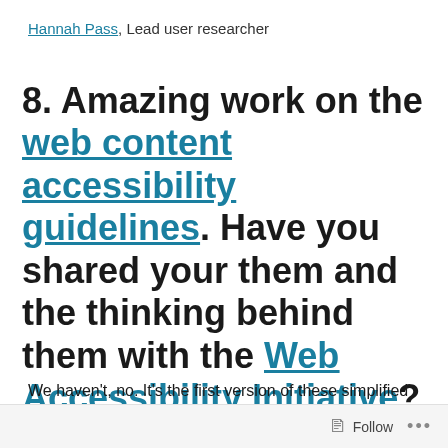Hannah Pass, Lead user researcher
8. Amazing work on the web content accessibility guidelines. Have you shared your them and the thinking behind them with the Web Accessibility Initiative?
We haven't, no. It's the first version of these simplified standards that we have done so we'd